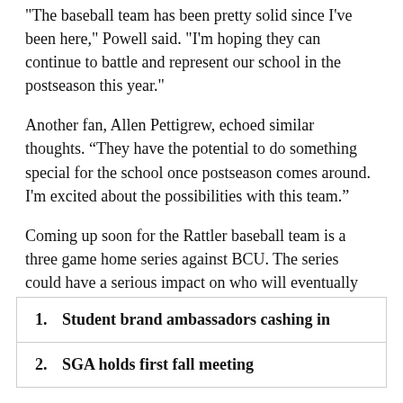"The baseball team has been pretty solid since I've been here," Powell said. "I'm hoping they can continue to battle and represent our school in the postseason this year."
Another fan, Allen Pettigrew, echoed similar thoughts. “They have the potential to do something special for the school once postseason comes around. I'm excited about the possibilities with this team.”
Coming up soon for the Rattler baseball team is a three game home series against BCU. The series could have a serious impact on who will eventually win the Southern Division.
1. Student brand ambassadors cashing in
2. SGA holds first fall meeting